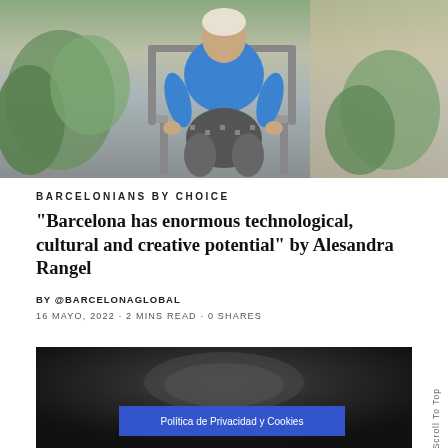[Figure (photo): A person wearing a blue top and houndstooth-patterned trousers seated on a metal chair, surrounded by green plants, photographed outdoors against a stone wall background.]
BARCELONIANS BY CHOICE
“Barcelona has enormous technological, cultural and creative potential” by Alesandra Rangel
BY @BARCELONAGLOBAL
16 MAYO, 2022 · 2 MINS READ · 0 SHARES
[Figure (photo): Dark blurred photograph, likely a video thumbnail, with a cookie consent bar overlay reading 'Política de Privacidad y Cookies'.]
Política de Privacidad y Cookies